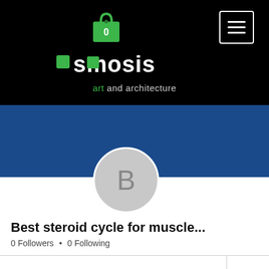[Figure (screenshot): Osmosis art and architecture website header with black background, shopping bag icon showing 0, hamburger menu button, osmosis logo with green squares replacing 'o' letters, and subtitle 'art and architecture' with 'art' in green]
[Figure (screenshot): Blue banner with Follow button and three-dot menu, grey avatar circle with letter B]
Best steroid cycle for muscle...
0 Followers • 0 Following
[Figure (screenshot): Bottom section with horizontal divider and chevron dropdown on right side]